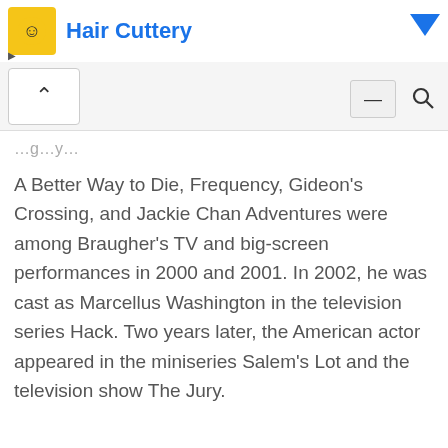Hair Cuttery
A Better Way to Die, Frequency, Gideon's Crossing, and Jackie Chan Adventures were among Braugher's TV and big-screen performances in 2000 and 2001. In 2002, he was cast as Marcellus Washington in the television series Hack. Two years later, the American actor appeared in the miniseries Salem's Lot and the television show The Jury.